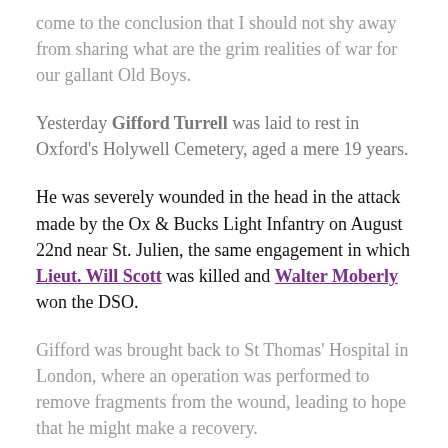come to the conclusion that I should not shy away from sharing what are the grim realities of war for our gallant Old Boys.
Yesterday Gifford Turrell was laid to rest in Oxford's Holywell Cemetery, aged a mere 19 years.
He was severely wounded in the head in the attack made by the Ox & Bucks Light Infantry on August 22nd near St. Julien, the same engagement in which Lieut. Will Scott was killed and Walter Moberly won the DSO.
Gifford was brought back to St Thomas' Hospital in London, where an operation was performed to remove fragments from the wound, leading to hope that he might make a recovery.
During his time in hospital however, Gifford was barely